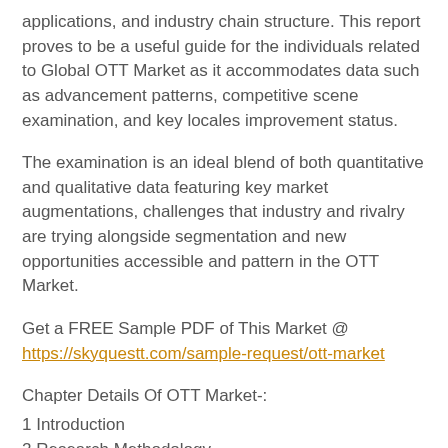applications, and industry chain structure. This report proves to be a useful guide for the individuals related to Global OTT Market as it accommodates data such as advancement patterns, competitive scene examination, and key locales improvement status.
The examination is an ideal blend of both quantitative and qualitative data featuring key market augmentations, challenges that industry and rivalry are trying alongside segmentation and new opportunities accessible and pattern in the OTT Market.
Get a FREE Sample PDF of This Market @ https://skyquestt.com/sample-request/ott-market
Chapter Details Of OTT Market-:
1 Introduction
2 Research Methodology
3 Executive Summary
4 Market Overview